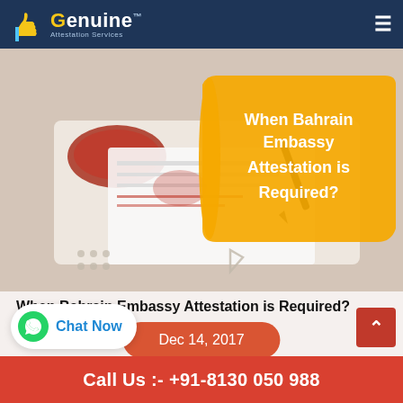Genuine Attestation Services
[Figure (photo): Hero image showing a document with stamps and a pen on a desk, overlaid with a yellow speech-bubble shape containing the text 'When Bahrain Embassy Attestation is Required?']
When Bahrain Embassy Attestation is Required?
Dec 14, 2017
Call Us :- +91-8130 050 988